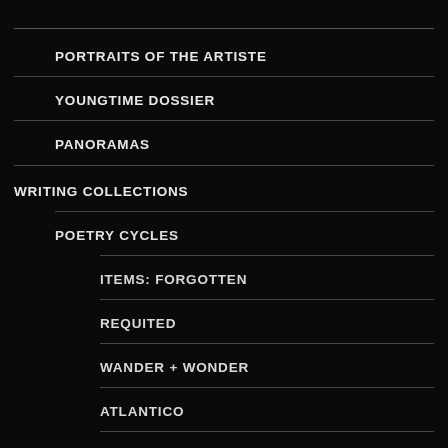PORTRAITS OF THE ARTISTE
YOUNGTIME DOSSIER
PANORAMAS
WRITING COLLECTIONS
POETRY CYCLES
ITEMS: FORGOTTEN
REQUITED
WANDER + WONDER
ATLANTICO
GONE TO SEA
HELD THE GLOBE (FOR GRAMPS)
ARE NO STRANGER